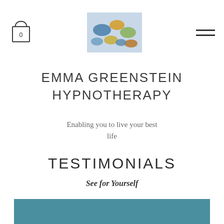[Figure (screenshot): Website header with cart icon (bag with 0), gemstone logo image, and hamburger menu icon]
EMMA GREENSTEIN HYPNOTHERAPY
Enabling you to live your best life
TESTIMONIALS
See for Yourself
[Figure (illustration): Teal/blue-green banner with large closing quotation marks icon in dark color]